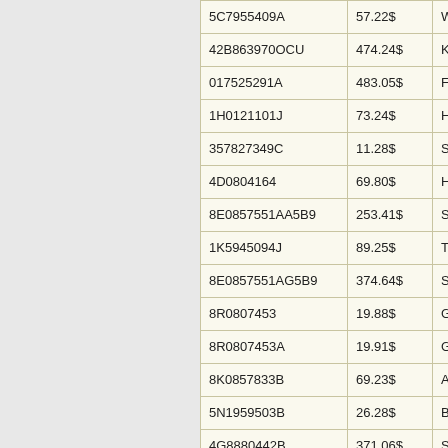| Part Number | Price | Description |
| --- | --- | --- |
| 5C7955409A | 57.22$ | WIPER |
| 42B863970OCU | 474.24$ | KNEE |
| 017525291A | 483.05$ | FLAN |
| 1H0121101J | 73.24$ | HOSE |
| 357827349C | 11.28$ | SPRIN |
| 4D0804164 | 69.80$ | HEATS |
| 8E0857551AA5B9 | 253.41$ | SUN V |
| 1K5945094J | 89.25$ | TAILLI |
| 8E0857551AG5B9 | 374.64$ | SUN V |
| 8R0807453 | 19.88$ | GUIDE |
| 8R0807453A | 19.91$ | GUIDE |
| 8K0857833B | 69.23$ | ADJU |
| 5N1959503B | 26.28$ | BRAC |
| 4G8880442B | 371.06$ | SIDEA |
| 02A311351C | 163.70$ | GEAR |
| 089321405B | 57.75$ | TUBE |
| 1Y0853981C99X | 147.05$ | MOLD |
| 357609721 | 37.64$ | BRAK |